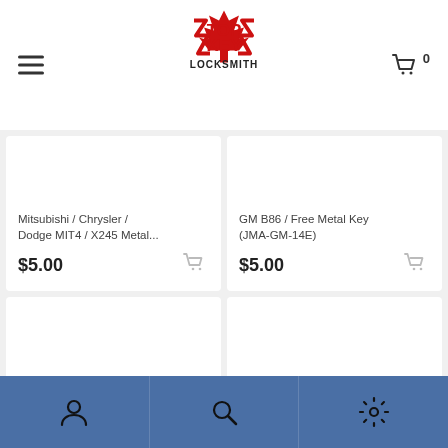[Figure (logo): Top Key Locksmith logo with red maple leaf graphic and bold red and black text]
Mitsubishi / Chrysler / Dodge MIT4 / X245 Metal...
$5.00
GM B86 / Free Metal Key (JMA-GM-14E)
$5.00
Navigation bar with person, search, and settings icons